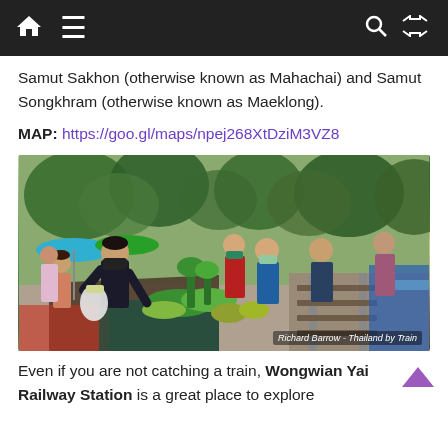Navigation bar with home, menu, search, and shuffle icons
Samut Sakhon (otherwise known as Mahachai) and Samut Songkhram (otherwise known as Maeklong).
MAP: https://goo.gl/maps/npej268XtDziM3VZ8
[Figure (photo): Outdoor market scene on or near train tracks; people shopping at vegetable stalls with colorful umbrellas and greenery visible. Photo credit: Richard Barrow - Thailand by Train]
Even if you are not catching a train, Wongwian Yai Railway Station is a great place to explore